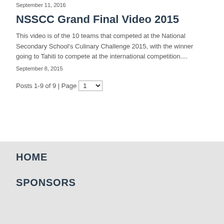September 11, 2016
NSSCC Grand Final Video 2015
This video is of the 10 teams that competed at the National Secondary School's Culinary Challenge 2015, with the winner going to Tahiti to compete at the international competition....
September 8, 2015
Posts 1-9 of 9 | Page 1
HOME
SPONSORS